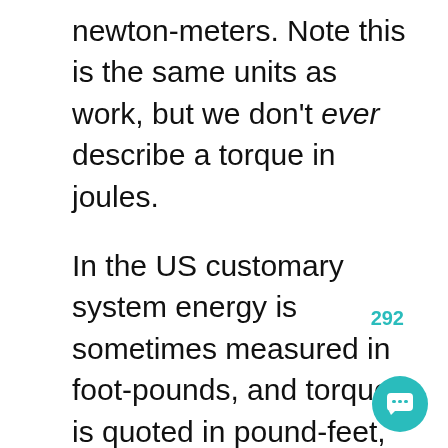newton-meters. Note this is the same units as work, but we don't ever describe a torque in joules.
In the US customary system energy is sometimes measured in foot-pounds, and torque is quoted in pound-feet, just to keep them distinct.
And remember the direction of the torque is along the axis of rotation it's trying to create. (In fact, it's away from the car when loosening a lug nut, try th
292